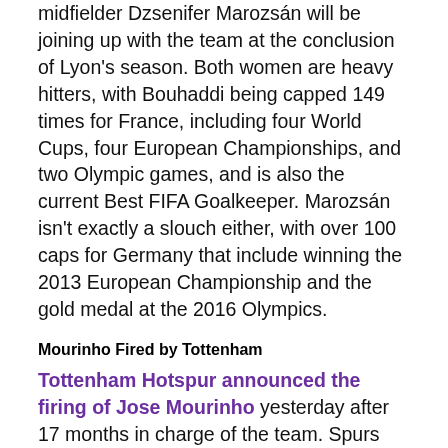midfielder Dzsenifer Marozsán will be joining up with the team at the conclusion of Lyon's season. Both women are heavy hitters, with Bouhaddi being capped 149 times for France, including four World Cups, four European Championships, and two Olympic games, and is also the current Best FIFA Goalkeeper. Marozsán isn't exactly a slouch either, with over 100 caps for Germany that include winning the 2013 European Championship and the gold medal at the 2016 Olympics.
Mourinho Fired by Tottenham
Tottenham Hotspur announced the firing of Jose Mourinho yesterday after 17 months in charge of the team. Spurs have had a difficult season, currently sitting seventh in the Premier League and having been eliminated from the Europa League last month. This